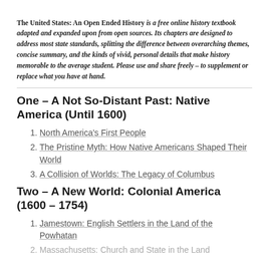The United States: An Open Ended History is a free online history textbook adapted and expanded upon from open sources. Its chapters are designed to address most state standards, splitting the difference between overarching themes, concise summary, and the kinds of vivid, personal details that make history memorable to the average student. Please use and share freely – to supplement or replace what you have at hand.
One – A Not So-Distant Past: Native America (Until 1600)
North America's First People
The Pristine Myth: How Native Americans Shaped Their World
A Collision of Worlds: The Legacy of Columbus
Two – A New World: Colonial America (1600 – 1754)
Jamestown: English Settlers in the Land of the Powhatan
Massachusetts: Church and State in the Land…